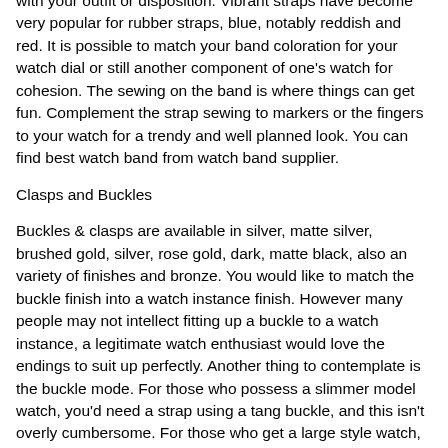with your outfit or disposition. Vibrant straps have become very popular for rubber straps, blue, notably reddish and red. It is possible to match your band coloration for your watch dial or still another component of one's watch for cohesion. The sewing on the band is where things can get fun. Complement the strap sewing to markers or the fingers to your watch for a trendy and well planned look. You can find best watch band from watch band supplier.
Clasps and Buckles
Buckles & clasps are available in silver, matte silver, brushed gold, silver, rose gold, dark, matte black, also an variety of finishes and bronze. You would like to match the buckle finish into a watch instance finish. However many people may not intellect fitting up a buckle to a watch instance, a legitimate watch enthusiast would love the endings to suit up perfectly. Another thing to contemplate is the buckle mode. For those who possess a slimmer model watch, you'd need a strap using a tang buckle, and this isn't overly cumbersome. For those who get a large style watch, you may want that a pre-v, or initials buckle, which are more substantial than a tang buckle. You would rather not matchup a large buckle having a dress watch.